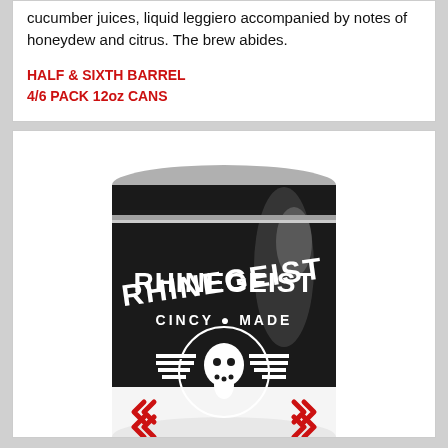cucumber juices, liquid leggiero accompanied by notes of honeydew and citrus. The brew abides.
HALF & SIXTH BARREL
4/6 PACK 12oz CANS
[Figure (photo): A black Rhinegeist beer can with white text reading RHINEGEIST CINCY MADE, featuring the brand skull logo and red arrow chevron decorations on a white lower band.]